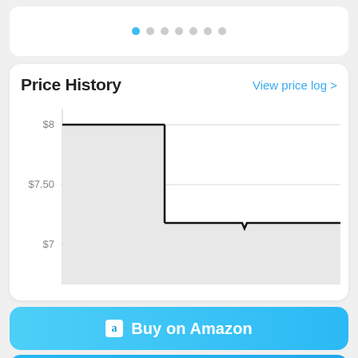[Figure (other): Pagination dots — one blue active dot followed by six grey inactive dots]
Price History
View price log >
[Figure (area-chart): Step area chart showing price drop from $8.00 to approximately $7.18, with a small dip around $7.10 partway through the lower plateau]
Buy on Amazon
Start Watching